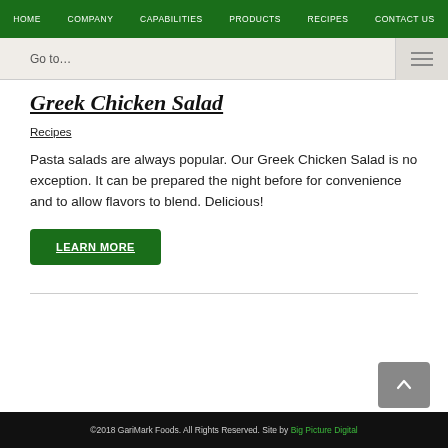HOME  COMPANY  CAPABILITIES  PRODUCTS  RECIPES  CONTACT US
Go to…
Greek Chicken Salad
Recipes
Pasta salads are always popular. Our Greek Chicken Salad is no exception. It can be prepared the night before for convenience and to allow flavors to blend. Delicious!
LEARN MORE
©2018 GariMark Foods. All Rights Reserved. Site by Big Picture Digital